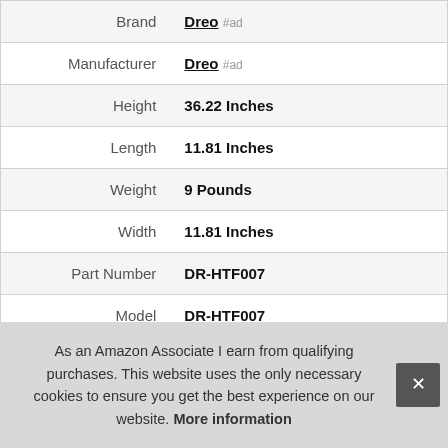| Attribute | Value |
| --- | --- |
| Brand | Dreo #ad |
| Manufacturer | Dreo #ad |
| Height | 36.22 Inches |
| Length | 11.81 Inches |
| Weight | 9 Pounds |
| Width | 11.81 Inches |
| Part Number | DR-HTF007 |
| Model | DR-HTF007 |
| Warranty | All Dreo tower fans purchased have a 1-year warranty as standard and manual extended |
As an Amazon Associate I earn from qualifying purchases. This website uses the only necessary cookies to ensure you get the best experience on our website. More information